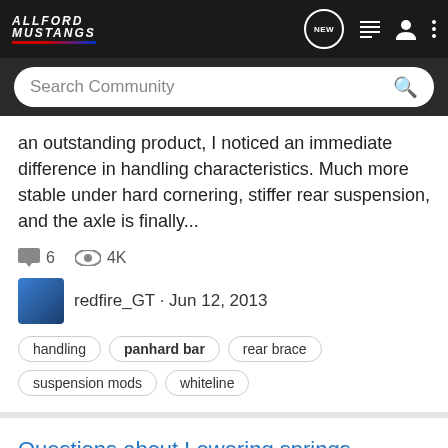AllFord Mustangs
Search Community
an outstanding product, I noticed an immediate difference in handling characteristics. Much more stable under hard cornering, stiffer rear suspension, and the axle is finally...
6  4K
redfire_GT · Jun 12, 2013
handling
panhard bar
rear brace
suspension mods
whiteline
Questions about Lowering springs
2011-2014 Mustang Talk
I just ordered some eibach lowering springs they are the sportlines and are supposed to drop 1.6inch in the front and 2.0 inch in the back... I also bought camber bolts to reduce